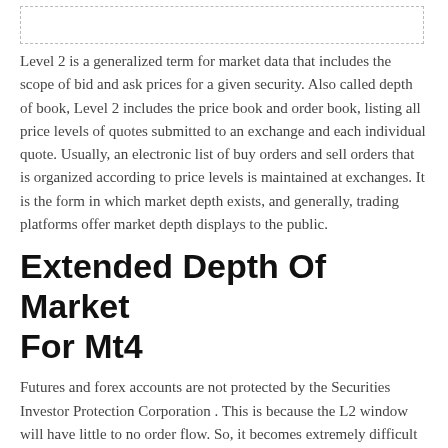Level 2 is a generalized term for market data that includes the scope of bid and ask prices for a given security. Also called depth of book, Level 2 includes the price book and order book, listing all price levels of quotes submitted to an exchange and each individual quote. Usually, an electronic list of buy orders and sell orders that is organized according to price levels is maintained at exchanges. It is the form in which market depth exists, and generally, trading platforms offer market depth displays to the public.
Extended Depth Of Market For Mt4
Futures and forex accounts are not protected by the Securities Investor Protection Corporation . This is because the L2 window will have little to no order flow. So, it becomes extremely difficult to use L2 as an effective forecasting tool. Let me first say there is nothing you can do to stop these fake orders. The best thing you can do is to not solely rely on the tape for your trading strategy.